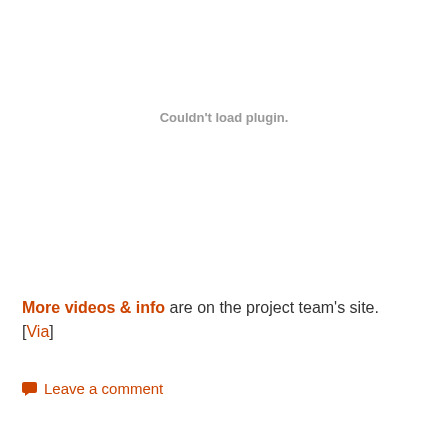Couldn't load plugin.
More videos & info are on the project team's site. [Via]
Leave a comment